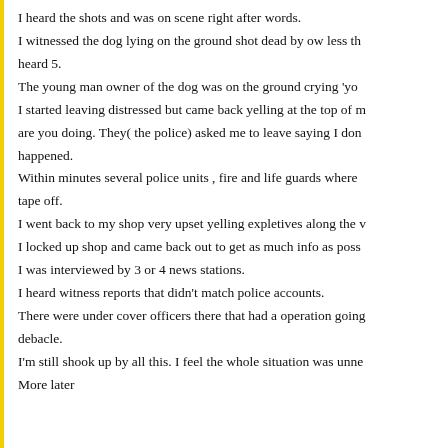I heard the shots and was on scene right after words. I witnessed the dog lying on the ground shot dead by ow less th heard 5. The young man owner of the dog was on the ground crying 'yo I started leaving distressed but came back yelling at the top of m are you doing. They( the police) asked me to leave saying I don happened. Within minutes several police units , fire and life guards where tape off. I went back to my shop very upset yelling expletives along the v I locked up shop and came back out to get as much info as poss I was interviewed by 3 or 4 news stations. I heard witness reports that didn't match police accounts. There were under cover officers there that had a operation going debacle. I'm still shook up by all this. I feel the whole situation was unne More later